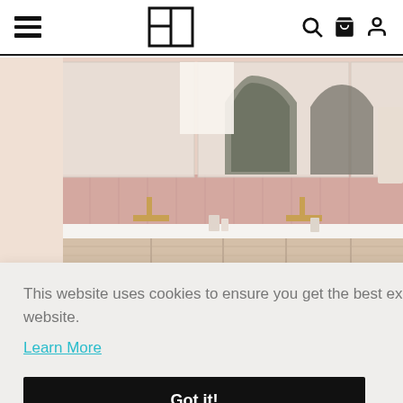[Navigation header with hamburger menu, logo, search, cart, and account icons]
[Figure (photo): Modern bathroom vanity with light wood cabinets, pink tile backsplash, arched mirrors, gold fixtures, and white countertop with two sinks]
This website uses cookies to ensure you get the best experience on our website.
Learn More
Got it!
be //
nickly
nd is
an easy way to add beautiful tile to your bathroom